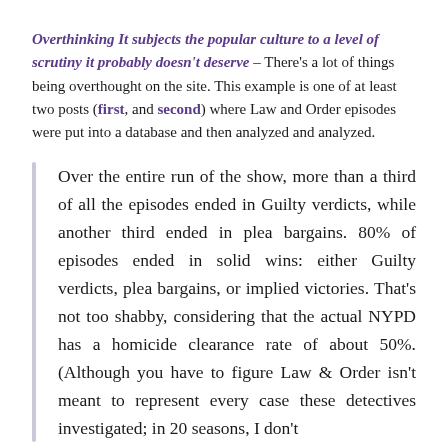Overthinking It subjects the popular culture to a level of scrutiny it probably doesn't deserve – There's a lot of things being overthought on the site. This example is one of at least two posts (first, and second) where Law and Order episodes were put into a database and then analyzed and analyzed.
Over the entire run of the show, more than a third of all the episodes ended in Guilty verdicts, while another third ended in plea bargains. 80% of episodes ended in solid wins: either Guilty verdicts, plea bargains, or implied victories. That's not too shabby, considering that the actual NYPD has a homicide clearance rate of about 50%. (Although you have to figure Law & Order isn't meant to represent every case these detectives investigated; in 20 seasons, I don't